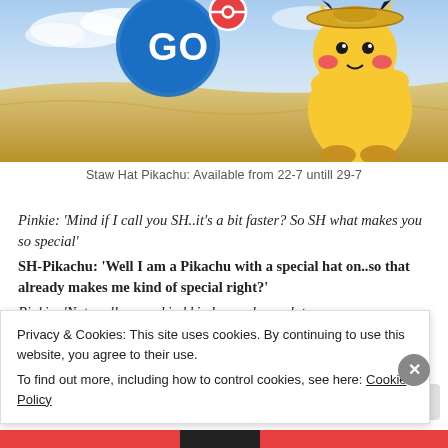[Figure (illustration): Pokémon GO promotional image showing Straw Hat Pikachu on a sandy beach with the Pokémon GO logo, blue sky and clouds in the background.]
Staw Hat Pikachu: Available from 22-7 untill 29-7
Pinkie: 'Mind if I call you SH..it's a bit faster? So SH what makes you so special'
SH-Pikachu: 'Well I am a Pikachu with a special hat on..so that already makes me kind of special right?'
Pinkie: 'Not really, your kind kinda cosplays a lot, you
Privacy & Cookies: This site uses cookies. By continuing to use this website, you agree to their use.
To find out more, including how to control cookies, see here: Cookie Policy